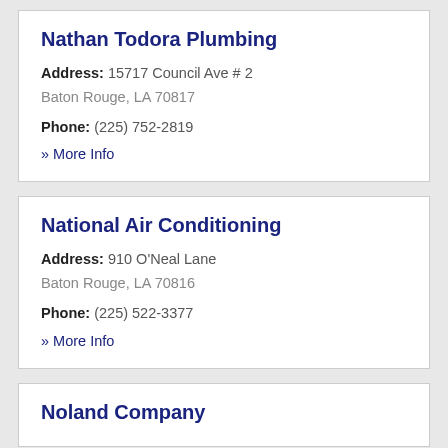Nathan Todora Plumbing
Address: 15717 Council Ave # 2 Baton Rouge, LA 70817
Phone: (225) 752-2819
» More Info
National Air Conditioning
Address: 910 O'Neal Lane Baton Rouge, LA 70816
Phone: (225) 522-3377
» More Info
Noland Company